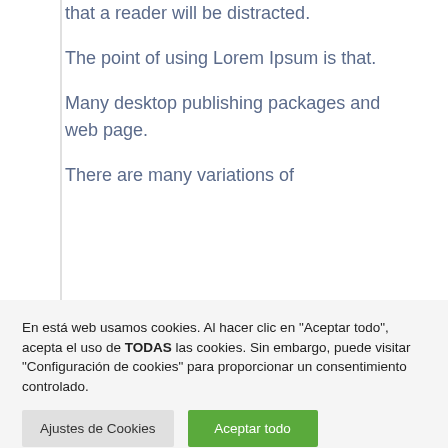that a reader will be distracted.

The point of using Lorem Ipsum is that.

Many desktop publishing packages and web page.

There are many variations of
En está web usamos cookies. Al hacer clic en "Aceptar todo", acepta el uso de TODAS las cookies. Sin embargo, puede visitar "Configuración de cookies" para proporcionar un consentimiento controlado.
Ajustes de Cookies
Aceptar todo